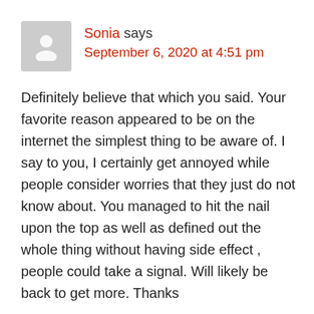[Figure (illustration): Gray avatar placeholder icon showing a silhouette of a person]
Sonia says
September 6, 2020 at 4:51 pm
Definitely believe that which you said. Your favorite reason appeared to be on the internet the simplest thing to be aware of. I say to you, I certainly get annoyed while people consider worries that they just do not know about. You managed to hit the nail upon the top as well as defined out the whole thing without having side effect , people could take a signal. Will likely be back to get more. Thanks